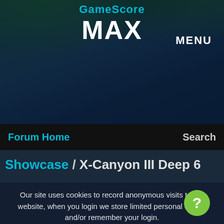[Figure (screenshot): Hero banner with dark green/blue background showing trees and city scene, with site logo 'MAX' and MENU button]
Forum Home   Search
Showcase / X-Canyon III Deep 6
Our site uses cookies to record anonymous visits to our website, when you login we store limited personal details and/or remember your login.
I agree
Read our cookie policy